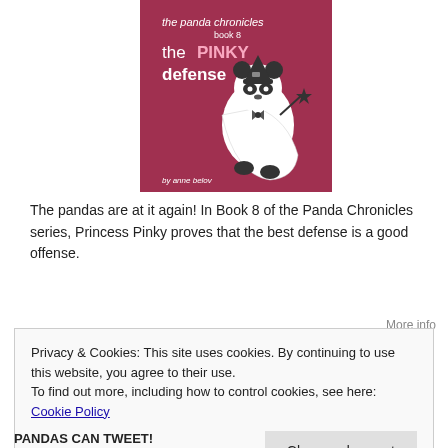[Figure (illustration): Book cover for 'the panda chronicles book 8 - the PINKY defense' by anne belov. Crimson/magenta background with white text. A cartoon panda dressed in a white cape and wizard hat holding a star wand.]
The pandas are at it again! In Book 8 of the Panda Chronicles series, Princess Pinky proves that the best defense is a good offense.
More info
Privacy & Cookies: This site uses cookies. By continuing to use this website, you agree to their use.
To find out more, including how to control cookies, see here: Cookie Policy
Close and accept
PANDAS CAN TWEET!